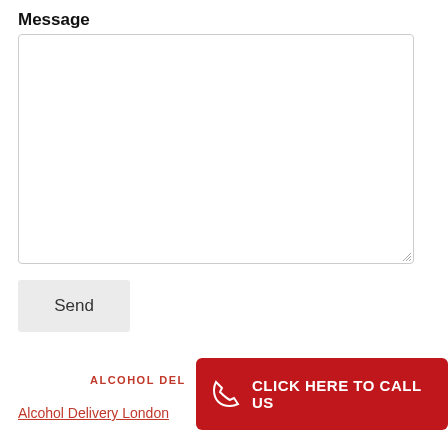Message
[Figure (screenshot): Empty textarea input box with resize handle in bottom-right corner]
Send
ALCOHOL DEL...
[Figure (other): Red button with phone icon and text CLICK HERE TO CALL US]
Alcohol Delivery London